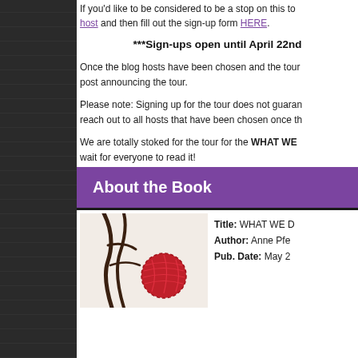If you'd like to be considered to be a stop on this tour, please email our host and then fill out the sign-up form HERE.
***Sign-ups open until April 22nd
Once the blog hosts have been chosen and the tour has been finalized, we will do a post announcing the tour.
Please note: Signing up for the tour does not guarantee a spot. We will reach out to all hosts that have been chosen once the tour has been finalized.
We are totally stoked for the tour for the WHAT WE Keep and can’t wait for everyone to read it!
About the Book
[Figure (photo): Book cover photo showing dark twisted branches and a red yarn heart ball against a light background]
Title: WHAT WE D...
Author: Anne Pfe...
Pub. Date: May 2...